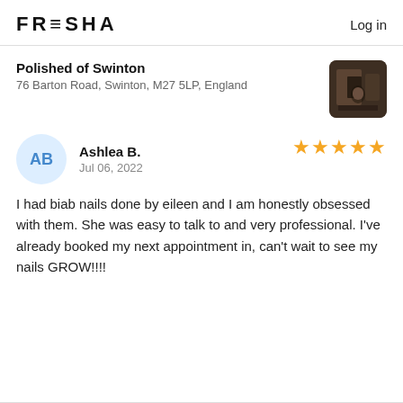FRESHA   Log in
Polished of Swinton
76 Barton Road, Swinton, M27 5LP, England
[Figure (photo): Small thumbnail photo of salon interior with dark wood paneling]
Ashlea B.
Jul 06, 2022
★★★★★ (5 stars)
I had biab nails done by eileen and I am honestly obsessed with them. She was easy to talk to and very professional. I've already booked my next appointment in, can't wait to see my nails GROW!!!!